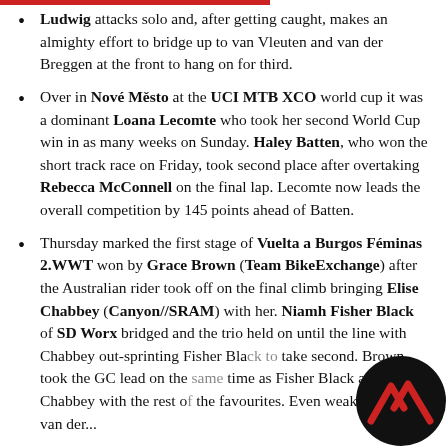Ludwig attacks solo and, after getting caught, makes an almighty effort to bridge up to van Vleuten and van der Breggen at the front to hang on for third.
Over in Nové Město at the UCI MTB XCO world cup it was a dominant Loana Lecomte who took her second World Cup win in as many weeks on Sunday. Haley Batten, who won the short track race on Friday, took second place after overtaking Rebecca McConnell on the final lap. Lecomte now leads the overall competition by 145 points ahead of Batten.
Thursday marked the first stage of Vuelta a Burgos Féminas 2.WWT won by Grace Brown (Team BikeExchange) after the Australian rider took off on the final climb bringing Elise Chabbey (Canyon//SRAM) with her. Niamh Fisher Black of SD Worx bridged and the trio held on until the line with Chabbey out-sprinting Fisher Black to take second. Brown took the GC lead on the same time as Fisher Black and Chabbey with the rest of the favourites. Even weakened, Demi van der...
[Figure (logo): Circular black logo with red angular mountain/chevron symbol]